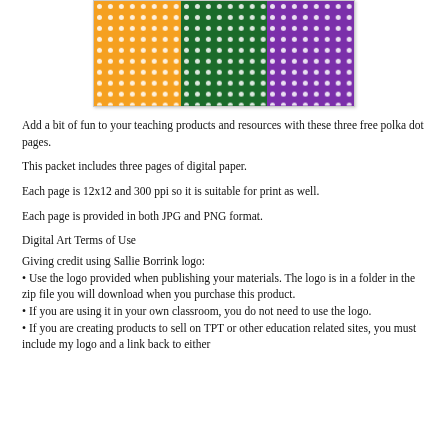[Figure (illustration): Three polka dot digital paper panels side by side: orange, green, and purple, each with white dots in a grid pattern.]
Add a bit of fun to your teaching products and resources with these three free polka dot pages.
This packet includes three pages of digital paper.
Each page is 12x12 and 300 ppi so it is suitable for print as well.
Each page is provided in both JPG and PNG format.
Digital Art Terms of Use
Giving credit using Sallie Borrink logo:
• Use the logo provided when publishing your materials. The logo is in a folder in the zip file you will download when you purchase this product.
• If you are using it in your own classroom, you do not need to use the logo.
• If you are creating products to sell on TPT or other education related sites, you must include my logo and a link back to either